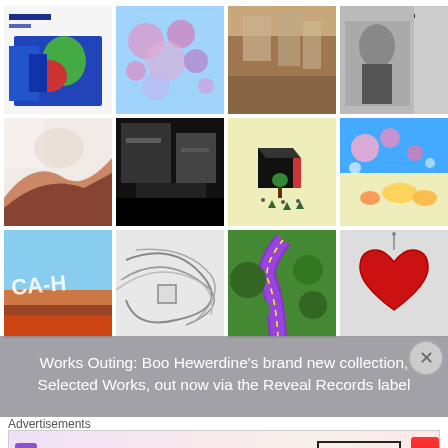[Figure (illustration): Grid of 12 artwork images in 4x3 layout: abstract paintings, illustrations, and artworks]
Works Outing: Boo Hewerdine's brand new collection, Selected Works, out now via the Reveal Records label
Advertisements
[Figure (photo): MAC cosmetics advertisement banner showing lipsticks, MAC logo, and SHOP NOW button]